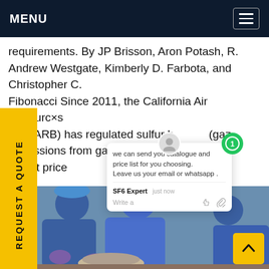MENU
requirements. By JP Brisson, Aron Potash, R. Andrew Westgate, Kimberly D. Farbota, and Christopher C. Fibonacci Since 2011, the California Air Resources Board (CARB) has regulated sulfur hexafluoride (gaz) emissions from gas-insulated switchgear (s).Get price
[Figure (photo): Workers in blue coveralls and blue hard hats working on equipment, with purple gloves visible.]
REQUEST A QUOTE
we can send you catalogue and price list for you choosing.
Leave us your email or whatsapp .
SF6 Expert  just now
Write a